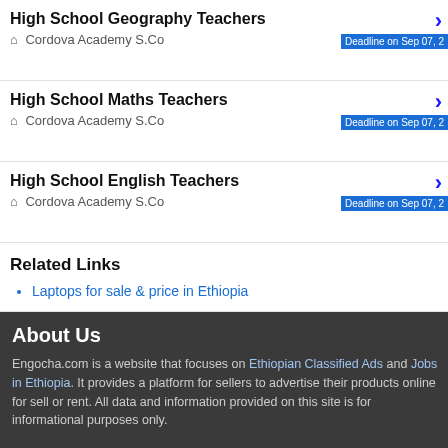High School Geography Teachers
🏠 Cordova Academy S.Co   Deadline on Sep 07, 2
High School Maths Teachers
🏠 Cordova Academy S.Co   Deadline on Sep 07, 2
High School English Teachers
🏠 Cordova Academy S.Co   Deadline on Sep 07, 2
Related Links
Laptops for sale & price in Ethiopia
About Us
Engocha.com is a website that focuses on Ethiopian Classified Ads and Jobs in Ethiopia. It provides a platform for sellers to advertise their products online for sell or rent. All data and information provided on this site is for informational purposes only.